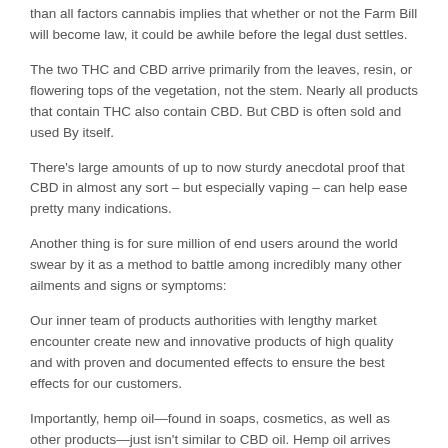than all factors cannabis implies that whether or not the Farm Bill will become law, it could be awhile before the legal dust settles.
The two THC and CBD arrive primarily from the leaves, resin, or flowering tops of the vegetation, not the stem. Nearly all products that contain THC also contain CBD. But CBD is often sold and used By itself.
There's large amounts of up to now sturdy anecdotal proof that CBD in almost any sort – but especially vaping – can help ease pretty many indications.
Another thing is for sure million of end users around the world swear by it as a method to battle among incredibly many other ailments and signs or symptoms:
Our inner team of products authorities with lengthy market encounter create new and innovative products of high quality and with proven and documented effects to ensure the best effects for our customers.
Importantly, hemp oil—found in soaps, cosmetics, as well as other products—just isn't similar to CBD oil. Hemp oil arrives principally from